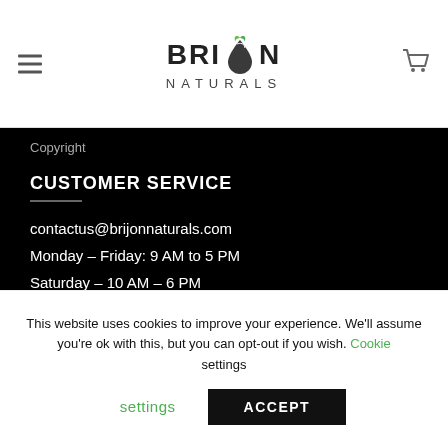Brijon Naturals logo with hamburger menu and cart icon
Copyright
CUSTOMER SERVICE
contactus@brijonnaturals.com
Monday – Friday: 9 AM to 5 PM
Saturday – 10 AM – 6 PM
This website uses cookies to improve your experience. We'll assume you're ok with this, but you can opt-out if you wish. Cookie settings ACCEPT